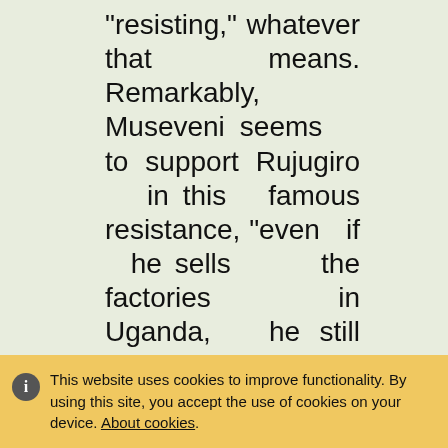“resisting,” whatever that means. Remarkably, Museveni seems to support Rujugiro in this famous resistance, “even if he sells the factories in Uganda, he still has more lucrative
This website uses cookies to improve functionality. By using this site, you accept the use of cookies on your device. About cookies.